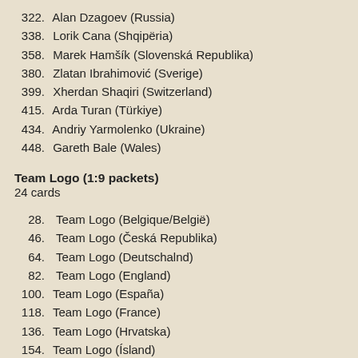322. Alan Dzagoev (Russia)
338. Lorik Cana (Shqipëria)
358. Marek Hamšík (Slovenská Republika)
380. Zlatan Ibrahimović (Sverige)
399. Xherdan Shaqiri (Switzerland)
415. Arda Turan (Türkiye)
434. Andriy Yarmolenko (Ukraine)
448. Gareth Bale (Wales)
Team Logo (1:9 packets)
24 cards
28. Team Logo (Belgique/België)
46. Team Logo (Česká Republika)
64. Team Logo (Deutschalnd)
82. Team Logo (England)
100. Team Logo (España)
118. Team Logo (France)
136. Team Logo (Hrvatska)
154. Team Logo (Ísland)
172. Team Logo (Italia)
190. Team Logo (Magyarország)